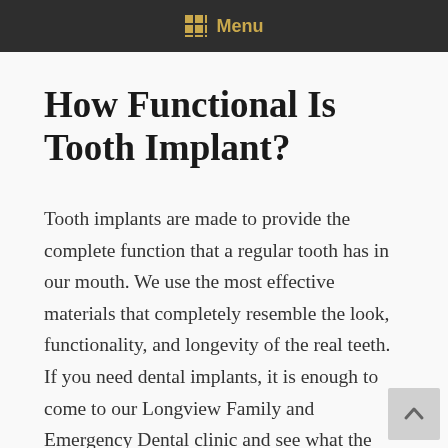Menu
How Functional Is Tooth Implant?
Tooth implants are made to provide the complete function that a regular tooth has in our mouth. We use the most effective materials that completely resemble the look, functionality, and longevity of the real teeth. If you need dental implants, it is enough to come to our Longview Family and Emergency Dental clinic and see what the best